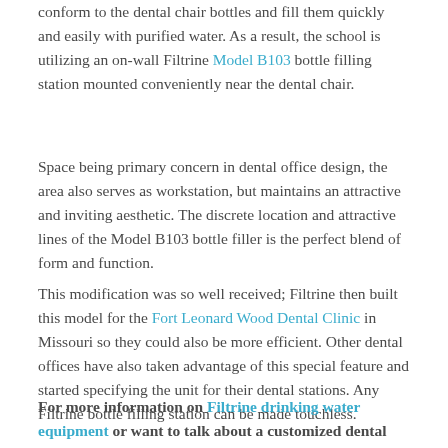conform to the dental chair bottles and fill them quickly and easily with purified water. As a result, the school is utilizing an on-wall Filtrine Model B103 bottle filling station mounted conveniently near the dental chair.
Space being primary concern in dental office design, the area also serves as workstation, but maintains an attractive and inviting aesthetic. The discrete location and attractive lines of the Model B103 bottle filler is the perfect blend of form and function.
This modification was so well received; Filtrine then built this model for the Fort Leonard Wood Dental Clinic in Missouri so they could also be more efficient. Other dental offices have also taken advantage of this special feature and started specifying the unit for their dental stations. Any Filtrine bottle filling station can be made touchless.
For more information on Filtrine drinking water equipment or want to talk about a customized dental application, fill out the Drinking Water Product Request